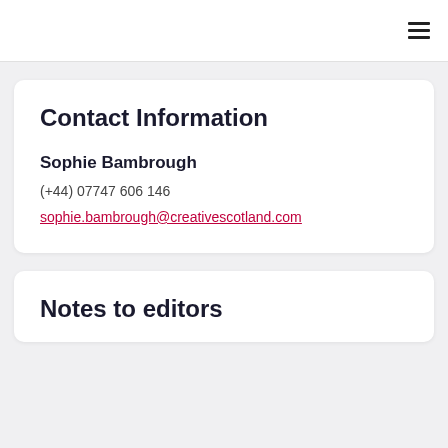≡
Contact Information
Sophie Bambrough
(+44) 07747 606 146
sophie.bambrough@creativescotland.com
Notes to editors